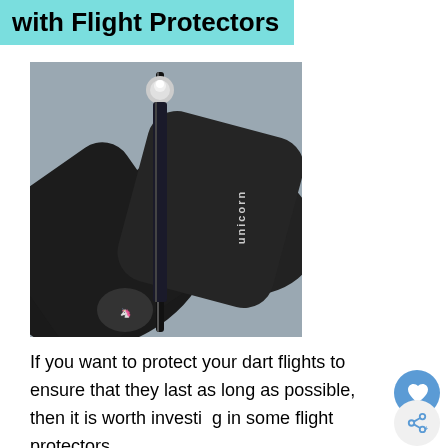with Flight Protectors
[Figure (photo): Close-up photo of a unicorn dart stem/shaft going through two black dart flights, with a silver dart tip at the top and the unicorn logo visible on the shaft. The background is gray.]
If you want to protect your dart flights to ensure that they last as long as possible, then it is worth investing in some flight protectors.